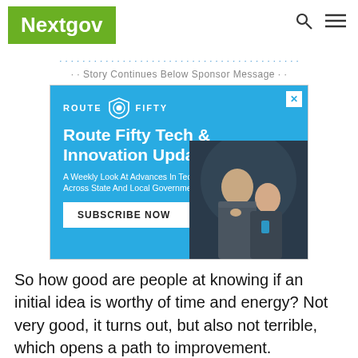Nextgov
· · Story Continues Below Sponsor Message · ·
[Figure (infographic): Route Fifty Tech & Innovation Update advertisement. Blue background with Route Fifty logo, headline 'Route Fifty Tech & Innovation Update', subtext 'A Weekly Look At Advances In Technology Across State And Local Governments', a Subscribe Now button, and a photo of two men looking at a screen.]
So how good are people at knowing if an initial idea is worthy of time and energy? Not very good, it turns out, but also not terrible, which opens a path to improvement.